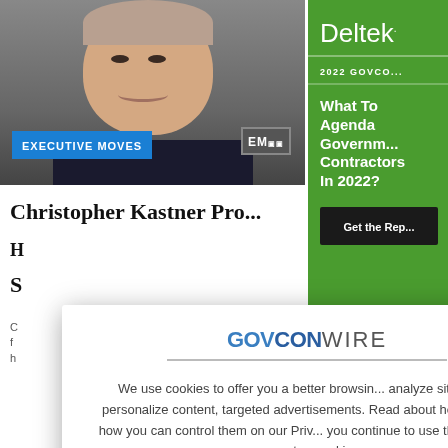[Figure (photo): Head and shoulders photo of a man in a dark suit, smiling, against a grey background. Blue banner reads EXECUTIVE MOVES with EM logo.]
Christopher Kastner Pro...
[Figure (screenshot): Cookie consent modal overlay on GovConWire website. Shows GOVCONWIRE logo and cookie policy text with X close button.]
[Figure (screenshot): Deltek advertisement panel on right side. Green background with Deltek logo, 2022 GOVCO..., What To Agenda... Government Contractors In 2022? heading, and Get the Rep... button.]